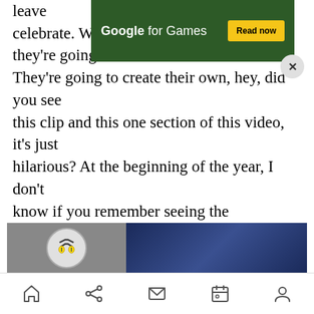[Figure (screenshot): Google for Games advertisement banner with dark green background, white text 'Google for Games' and yellow 'Read now' button, with a close X button]
leave celebrate. We provide lots of opportunities, they're going to create their own moments. They're going to create their own, hey, did you see this clip and this one section of this video, it's just hilarious? At the beginning of the year, I don't know if you remember seeing the contraption video, where we had the journey through the regions with the Pokéball rolling through. One clip on the rooftop in Unova is a clip of surprise Pikachu, that scene. We wanted to accentuate that without making it too commercial, because the fun of it is being a little counter to the norm.
[Figure (screenshot): Two-panel image strip showing a Pokemon character icon on left with dark background and blue/gold scene on right]
Navigation bar with home, share, mail, calendar, profile icons